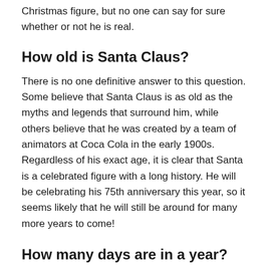Christmas figure, but no one can say for sure whether or not he is real.
How old is Santa Claus?
There is no one definitive answer to this question. Some believe that Santa Claus is as old as the myths and legends that surround him, while others believe that he was created by a team of animators at Coca Cola in the early 1900s. Regardless of his exact age, it is clear that Santa is a celebrated figure with a long history. He will be celebrating his 75th anniversary this year, so it seems likely that he will still be around for many more years to come!
How many days are in a year?
There are 365 days in a year. On the first day of the year, January 1st, we start over again. The next day is New Year's